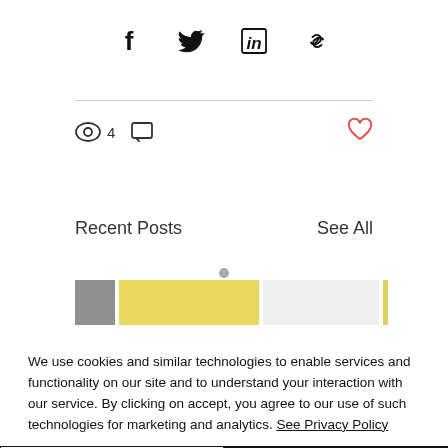[Figure (infographic): Social share icons: Facebook (f), Twitter bird, LinkedIn (in), and link/chain icon]
4
Recent Posts   See All
[Figure (photo): Thumbnail strip showing a gray image, a yellow image, another yellow image, and a beige image for recent posts]
We use cookies and similar technologies to enable services and functionality on our site and to understand your interaction with our service. By clicking on accept, you agree to our use of such technologies for marketing and analytics. See Privacy Policy
Decline All
Accept
Cookie Settings